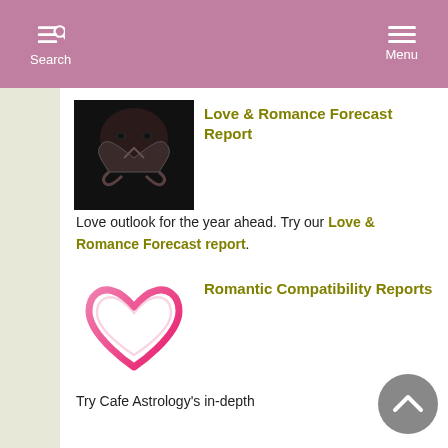Search  Menu
[Figure (photo): Person making a heart shape with their hands in front of their face, dark background]
Love & Romance Forecast Report
Love outlook for the year ahead. Try our Love & Romance Forecast report.
[Figure (illustration): Pink heart outline illustration]
Romantic Compatibility Reports
Try Cafe Astrology's in-depth